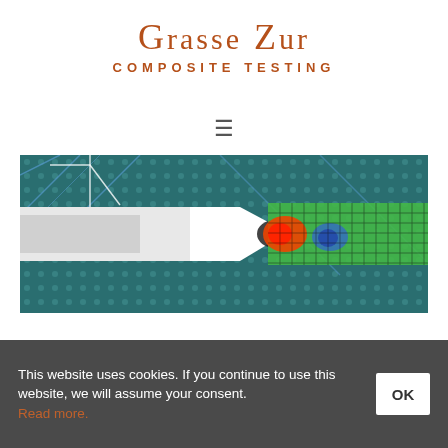Grasse Zur
COMPOSITE TESTING
[Figure (other): Hamburger menu icon (three horizontal lines)]
[Figure (photo): Composite testing image showing a specimen under load with overlaid FEA stress map using a color scale from blue (low) through green to red (high stress), with a grid mesh overlay on the right portion of the specimen.]
This website uses cookies. If you continue to use this website, we will assume your consent. Read more.